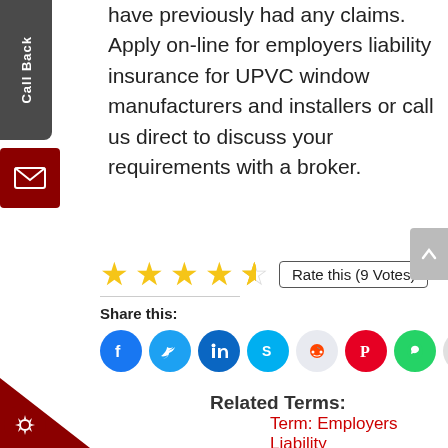have previously had any claims. Apply on-line for employers liability insurance for UPVC window manufacturers and installers or call us direct to discuss your requirements with a broker.
[Figure (other): Star rating: 4.5 out of 5 stars with Rate this (9 Votes) button]
Share this:
[Figure (other): Social sharing icons: Facebook, Twitter, LinkedIn, Skype, Reddit, Pinterest, WhatsApp, Print, and More button]
Related Terms:
Term: Employers Liability